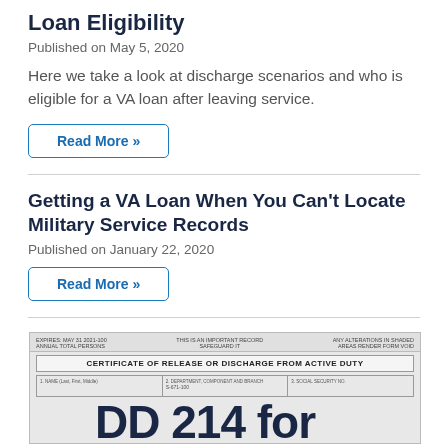Loan Eligibility
Published on May 5, 2020
Here we take a look at discharge scenarios and who is eligible for a VA loan after leaving service.
Read More »
Getting a VA Loan When You Can't Locate Military Service Records
Published on January 22, 2020
Read More »
[Figure (photo): DD-214 Certificate of Release or Discharge from Active Duty form image with large 'DD 214 for...' text]